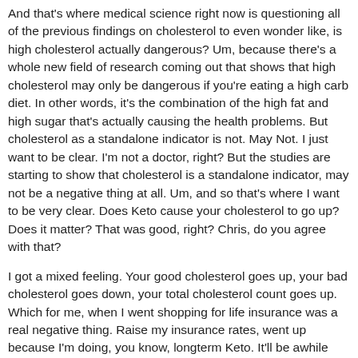And that's where medical science right now is questioning all of the previous findings on cholesterol to even wonder like, is high cholesterol actually dangerous? Um, because there's a whole new field of research coming out that shows that high cholesterol may only be dangerous if you're eating a high carb diet. In other words, it's the combination of the high fat and high sugar that's actually causing the health problems. But cholesterol as a standalone indicator is not. May Not. I just want to be clear. I'm not a doctor, right? But the studies are starting to show that cholesterol is a standalone indicator, may not be a negative thing at all. Um, and so that's where I want to be very clear. Does Keto cause your cholesterol to go up? Does it matter? That was good, right? Chris, do you agree with that?
I got a mixed feeling. Your good cholesterol goes up, your bad cholesterol goes down, your total cholesterol count goes up. Which for me, when I went shopping for life insurance was a real negative thing. Raise my insurance rates, went up because I'm doing, you know, longterm Keto. It'll be awhile